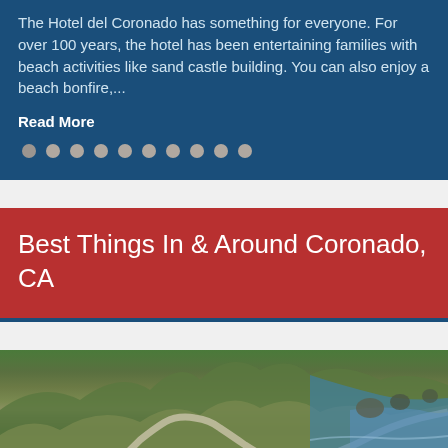The Hotel del Coronado has something for everyone. For over 100 years, the hotel has been entertaining families with beach activities like sand castle building. You can also enjoy a beach bonfire,...
Read More
Best Things In & Around Coronado, CA
[Figure (photo): Coastal highway winding along rugged cliffs with rocky outcrops and ocean waves, green hillsides and blue water visible]